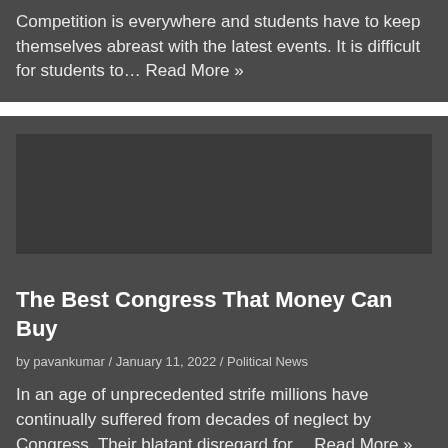Competition is everywhere and students have to keep themselves abreast with the latest events. It is difficult for students to… Read More »
[Figure (other): Dark placeholder image area for second article]
The Best Congress That Money Can Buy
by pavankumar / January 11, 2022 / Political News
In an age of unprecedented strife millions have continually suffered from decades of neglect by Congress. Their blatant disregard for… Read More »